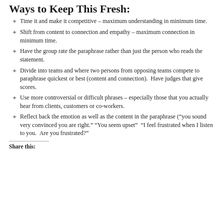Ways to Keep This Fresh:
Time it and make it competitive – maximum understanding in minimum time.
Shift from content to connection and empathy – maximum connection in minimum time.
Have the group rate the paraphrase rather than just the person who reads the statement.
Divide into teams and where two persons from opposing teams compete to paraphrase quickest or best (content and connection).  Have judges that give scores.
Use more controversial or difficult phrases – especially those that you actually hear from clients, customers or co-workers.
Reflect back the emotion as well as the content in the paraphrase (“you sound very convinced you are right.” “You seem upset”  “I feel frustrated when I listen to you.  Are you frustrated?”
Share this: